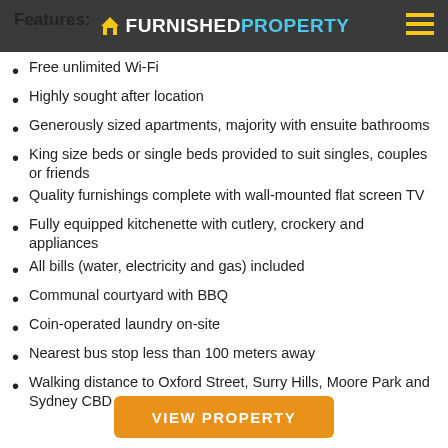FURNISHED PROPERTY
Features:
Free unlimited Wi-Fi
Highly sought after location
Generously sized apartments, majority with ensuite bathrooms
King size beds or single beds provided to suit singles, couples or friends
Quality furnishings complete with wall-mounted flat screen TV
Fully equipped kitchenette with cutlery, crockery and appliances
All bills (water, electricity and gas) included
Communal courtyard with BBQ
Coin-operated laundry on-site
Nearest bus stop less than 100 meters away
Walking distance to Oxford Street, Surry Hills, Moore Park and Sydney CBD
VIEW PROPERTY